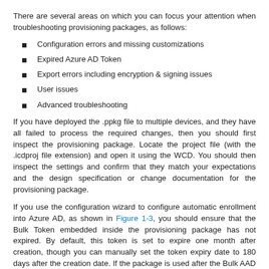There are several areas on which you can focus your attention when troubleshooting provisioning packages, as follows:
Configuration errors and missing customizations
Expired Azure AD Token
Export errors including encryption & signing issues
User issues
Advanced troubleshooting
If you have deployed the .ppkg file to multiple devices, and they have all failed to process the required changes, then you should first inspect the provisioning package. Locate the project file (with the .icdproj file extension) and open it using the WCD. You should then inspect the settings and confirm that they match your expectations and the design specification or change documentation for the provisioning package.
If you use the configuration wizard to configure automatic enrollment into Azure AD, as shown in Figure 1-3, you should ensure that the Bulk Token embedded inside the provisioning package has not expired. By default, this token is set to expire one month after creation, though you can manually set the token expiry date to 180 days after the creation date. If the package is used after the Bulk AAD Token has expired, the package will fail to install. You will need to edit the package, apply for a new Bulk AAD Token, and re-export the package.